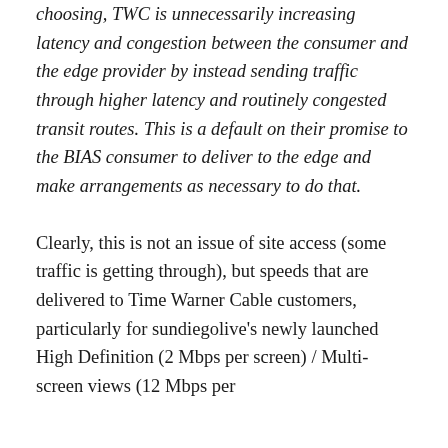choosing, TWC is unnecessarily increasing latency and congestion between the consumer and the edge provider by instead sending traffic through higher latency and routinely congested transit routes. This is a default on their promise to the BIAS consumer to deliver to the edge and make arrangements as necessary to do that.
Clearly, this is not an issue of site access (some traffic is getting through), but speeds that are delivered to Time Warner Cable customers, particularly for sundiegolive's newly launched High Definition (2 Mbps per screen) / Multi-screen views (12 Mbps per